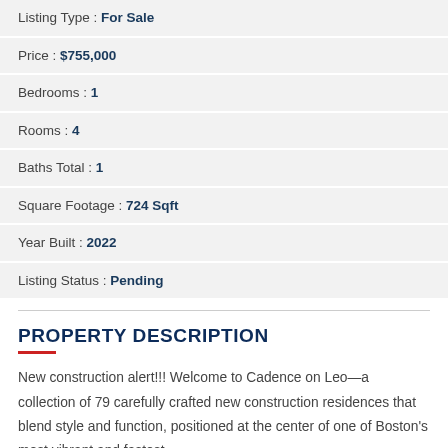Listing Type : For Sale
Price : $755,000
Bedrooms : 1
Rooms : 4
Baths Total : 1
Square Footage : 724 Sqft
Year Built : 2022
Listing Status : Pending
PROPERTY DESCRIPTION
New construction alert!!! Welcome to Cadence on Leo—a collection of 79 carefully crafted new construction residences that blend style and function, positioned at the center of one of Boston's most vibrant and fastest